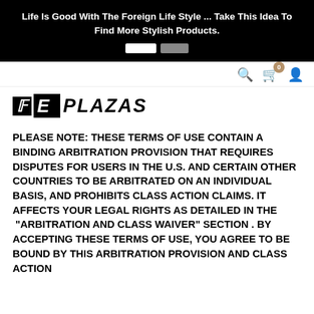Life Is Good With The Foreign Life Style ... Take This Idea To Find More Stylish Products.
[Figure (logo): E Plazas logo with stylized italic E in black box followed by PLAZAS text in bold italic]
PLEASE NOTE: THESE TERMS OF USE CONTAIN A BINDING ARBITRATION PROVISION THAT REQUIRES DISPUTES FOR USERS IN THE U.S. AND CERTAIN OTHER COUNTRIES TO BE ARBITRATED ON AN INDIVIDUAL BASIS, AND PROHIBITS CLASS ACTION CLAIMS. IT AFFECTS YOUR LEGAL RIGHTS AS DETAILED IN THE "ARBITRATION AND CLASS WAIVER" SECTION . BY ACCEPTING THESE TERMS OF USE, YOU AGREE TO BE BOUND BY THIS ARBITRATION PROVISION AND CLASS ACTION